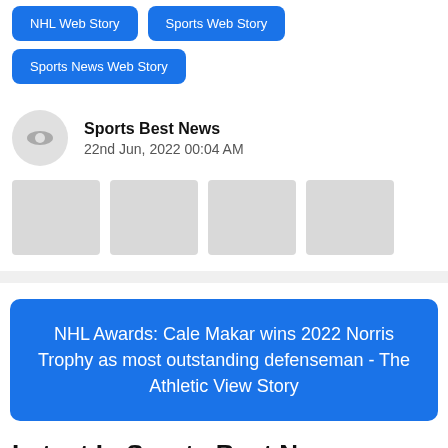NHL Web Story
Sports Web Story
Sports News Web Story
Sports Best News
22nd Jun, 2022 00:04 AM
[Figure (other): Four grey thumbnail placeholder squares in a row]
NHL Awards: Cale Makar wins 2022 Norris Trophy as most outstanding defenseman - The Athletic View Story
Latest In Sports Best News